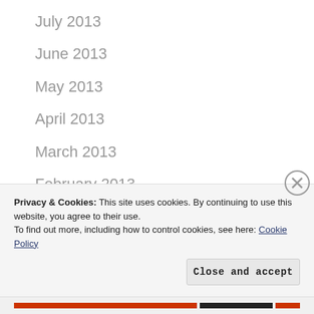July 2013
June 2013
May 2013
April 2013
March 2013
February 2013
January 2013
December 2012
November 2012
Privacy & Cookies: This site uses cookies. By continuing to use this website, you agree to their use. To find out more, including how to control cookies, see here: Cookie Policy
Close and accept